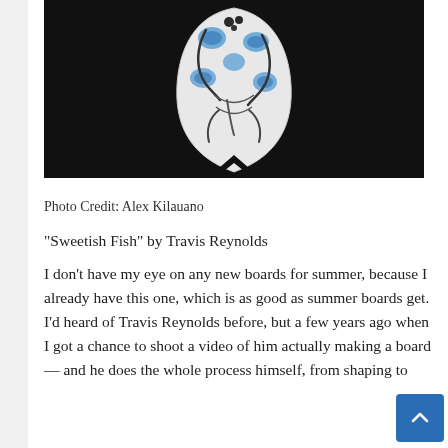[Figure (photo): A decorated surfboard with blue and black artwork on white background, photographed against a dark background. The board appears to have artistic fish/organic shapes in blue and black ink.]
Photo Credit: Alex Kilauano
“Sweetish Fish” by Travis Reynolds
I don’t have my eye on any new boards for summer, because I already have this one, which is as good as summer boards get. I’d heard of Travis Reynolds before, but a few years ago when I got a chance to shoot a video of him actually making a board — and he does the whole process himself, from shaping to